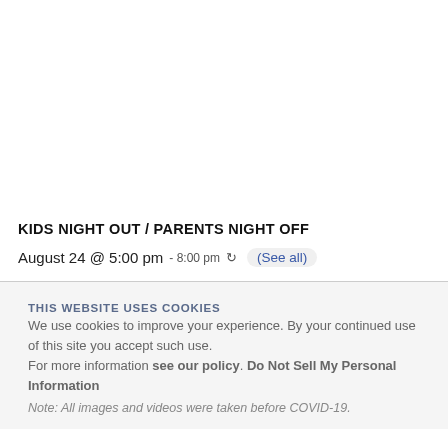KIDS NIGHT OUT / PARENTS NIGHT OFF
August 24 @ 5:00 pm - 8:00 pm (See all)
THIS WEBSITE USES COOKIES
We use cookies to improve your experience. By your continued use of this site you accept such use. For more information see our policy. Do Not Sell My Personal Information
Note: All images and videos were taken before COVID-19.